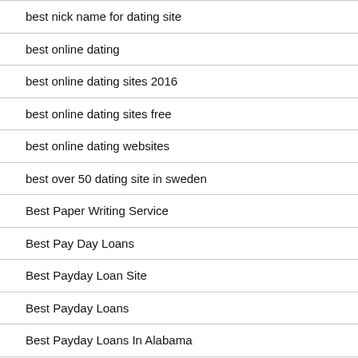best nick name for dating site
best online dating
best online dating sites 2016
best online dating sites free
best online dating websites
best over 50 dating site in sweden
Best Paper Writing Service
Best Pay Day Loans
Best Payday Loan Site
Best Payday Loans
Best Payday Loans In Alabama
Best Payday Loans In Hampshire